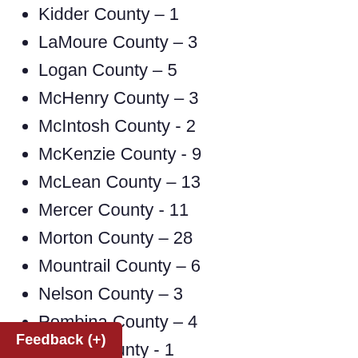Kidder County – 1
LaMoure County – 3
Logan County – 5
McHenry County – 3
McIntosh County - 2
McKenzie County - 9
McLean County – 13
Mercer County - 11
Morton County – 28
Mountrail County – 6
Nelson County – 3
Pembina County – 4
Pierce County - 1
Ramsey County – 10
Ransom County – 4
Richland County - 15
Rolette County – 48
Sargent County – 3
Sheridan County - 2